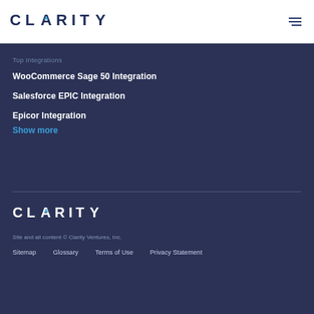[Figure (logo): Clarity logo in dark blue text with blue triangle accent on white background]
[Figure (other): Hamburger menu icon (three horizontal lines)]
Top Integrations
WooCommerce Sage 50 Integration
Salesforce EPIC Integration
Epicor Integration
Show more
[Figure (logo): Clarity logo in white text with blue triangle accent on dark background]
Site and all content © Clarity Ventures, Inc.
Sitemap   Glossary   Terms of Use   Privacy Statement